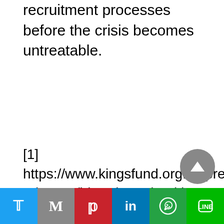recruitment processes before the crisis becomes untreatable.
[1] https://www.kingsfund.org.uk/press/press-releases/bitter-irony-health-care-staff-made-ill-committee-report-workforce-burnout-resilience
[2] https://www.ft.com/content/f2ace7d9-59ce-406c-9db6-a844e6806e05
[3] https://www.thelondoneconomic.com/politics/dic...-harding-vows-to-end-nhs-reliance-on-foreign-